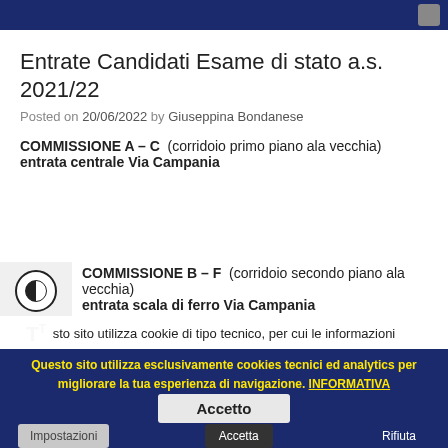Entrate Candidati Esame di stato a.s. 2021/22
Posted on 20/06/2022 by Giuseppina Bondanese
COMMISSIONE A – C  (corridoio primo piano ala vecchia)
entrata centrale Via Campania
COMMISSIONE B – F  (corridoio secondo piano ala vecchia)
entrata scala di ferro Via Campania
Questo sito utilizza cookie di tipo tecnico, per cui le informazioni raccolte non saranno utilizzate per finalità commerciali nè comunicate a terze parti.
Potrebbero essere presenti collegamenti esterni (esempio social, youtube, maps) per le cui policy si rimanda ai portali collegati, in quanto tali contenuti non sono trattati da questo sito.
Questo sito utilizza esclusivamente cookies tecnici ed analytics per migliorare la tua esperienza di navigazione. INFORMATIVA
Accetto
Impostazioni  Accetta  Rifiuta